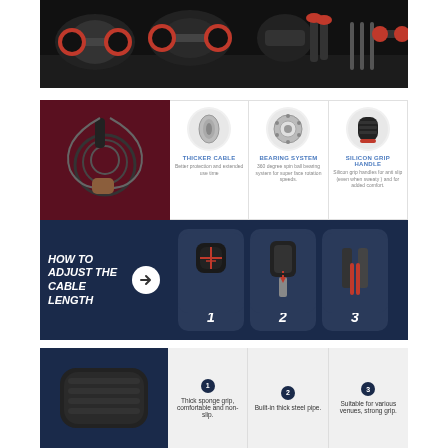[Figure (photo): Fitness equipment product photo showing dumbbells, ab wheel, hand grip and other workout accessories on dark background]
[Figure (infographic): Jump rope product detail infographic showing thicker cable, bearing system, and silicon grip handle features with circle photos and descriptions]
[Figure (infographic): How to adjust the cable length step-by-step guide with 3 numbered step images on dark navy background]
[Figure (infographic): Bottom section showing push-up bar handle with 3 feature callouts: 1) Thick sponge grip, comfortable and non-slip. 2) Built-in thick steel pipe. 3) Suitable for various venues, strong grip.]